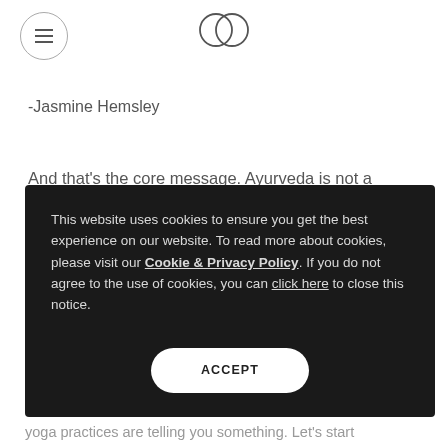Menu | Logo (two overlapping circles)
-Jasmine Hemsley
And that's the core message. Ayurveda is not a
This website uses cookies to ensure you get the best experience on our website. To read more about cookies, please visit our Cookie & Privacy Policy. If you do not agree to the use of cookies, you can click here to close this notice.
ACCEPT
yoga practices are telling you something. Let's start